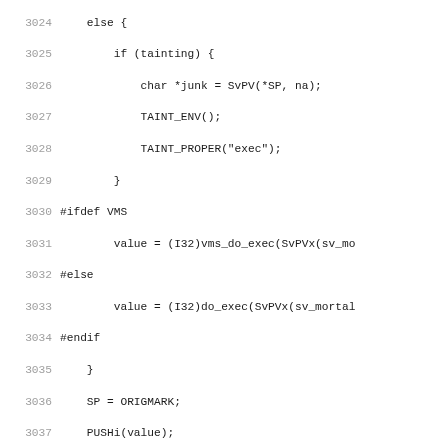[Figure (other): Source code listing (C/Perl) with line numbers 3024-3056, showing code for exec, pp_kill, and pp_getppid functions including taint checking, VMS conditionals, and HAS_KILL preprocessor directives.]